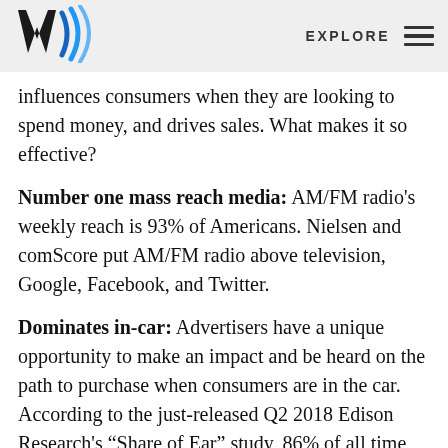EXPLORE
influences consumers when they are looking to spend money, and drives sales. What makes it so effective?
Number one mass reach media: AM/FM radio's weekly reach is 93% of Americans. Nielsen and comScore put AM/FM radio above television, Google, Facebook, and Twitter.
Dominates in-car: Advertisers have a unique opportunity to make an impact and be heard on the path to purchase when consumers are in the car. According to the just-released Q2 2018 Edison Research's “Share of Ear” study, 86% of all time spent with ad-supported audio